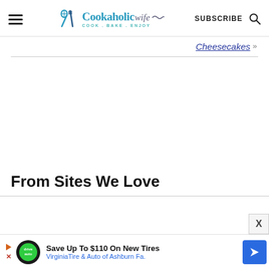Cookaholic Wife — COOK . BAKE . ENJOY | SUBSCRIBE
Cheesecakes »
From Sites We Love
[Figure (screenshot): Advertisement banner: 'Save Up To $110 On New Tires — VirginiaTire & Auto of Ashburn Fa.' with a green DriveAuto logo circle and a blue navigation arrow icon.]